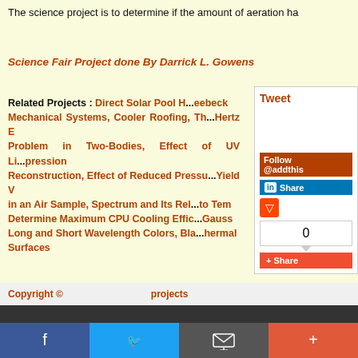The science project is to determine if the amount of aeration ha
Science Fair Project done By Darrick L. Gowens
Related Projects : Direct Solar Pool H...eebeck Mechanical Systems, Cooler Roofing, Th...Hertz E Problem in Two-Bodies, Effect of UV Li...pression Reconstruction, Effect of Reduced Pressu...Yield V in an Air Sample, Spectrum and Its Rel...to Tem Determine Maximum CPU Cooling Effic...Gauss Long and Short Wavelength Colors, Bla...hermal Surfaces
Copyright ©    projects
[Figure (screenshot): Social sharing sidebar with Tweet button, Follow @addthis, LinkedIn Share, Reddit icon, count box showing 0, and AddThis Share button]